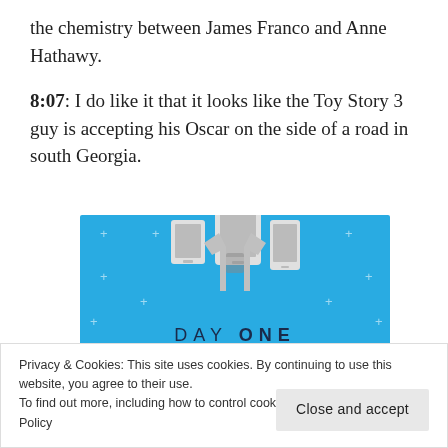the chemistry between James Franco and Anne Hathawy.
8:07: I do like it that it looks like the Toy Story 3 guy is accepting his Oscar on the side of a road in south Georgia.
[Figure (illustration): Day One journaling app advertisement with blue background, t-shirt illustration, device icons, 'DAY ONE' text, tagline 'The only journaling app you'll ever need.' and a 'Get the app' button.]
Privacy & Cookies: This site uses cookies. By continuing to use this website, you agree to their use.
To find out more, including how to control cookies, see here: Cookie Policy
Close and accept